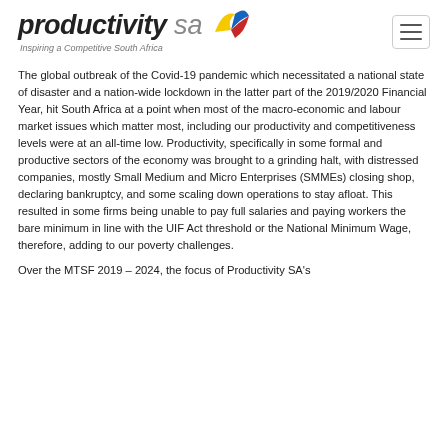productivity sa — Inspiring a Competitive South Africa
The global outbreak of the Covid-19 pandemic which necessitated a national state of disaster and a nation-wide lockdown in the latter part of the 2019/2020 Financial Year, hit South Africa at a point when most of the macro-economic and labour market issues which matter most, including our productivity and competitiveness levels were at an all-time low. Productivity, specifically in some formal and productive sectors of the economy was brought to a grinding halt, with distressed companies, mostly Small Medium and Micro Enterprises (SMMEs) closing shop, declaring bankruptcy, and some scaling down operations to stay afloat. This resulted in some firms being unable to pay full salaries and paying workers the bare minimum in line with the UIF Act threshold or the National Minimum Wage, therefore, adding to our poverty challenges.
Over the MTSF 2019 – 2024, the focus of Productivity SA's